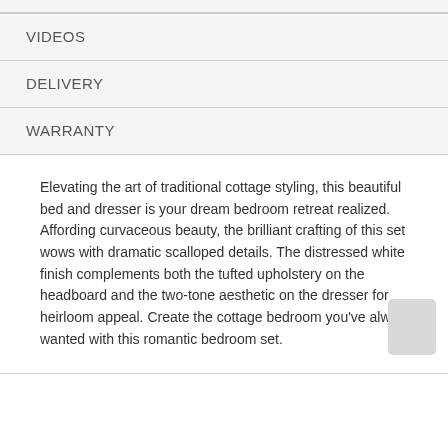VIDEOS
DELIVERY
WARRANTY
Elevating the art of traditional cottage styling, this beautiful bed and dresser is your dream bedroom retreat realized. Affording curvaceous beauty, the brilliant crafting of this set wows with dramatic scalloped details. The distressed white finish complements both the tufted upholstery on the headboard and the two-tone aesthetic on the dresser for heirloom appeal. Create the cottage bedroom you've always wanted with this romantic bedroom set.